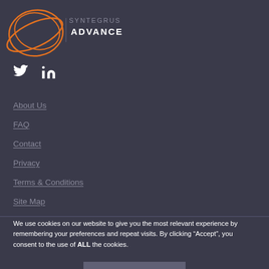[Figure (logo): Syntegrus Advance logo with orange circular swirls and text SYNTEGRUS ADVANCE]
[Figure (illustration): Social media icons: Twitter bird icon and LinkedIn 'in' icon in white]
About Us
FAQ
Contact
Privacy
Terms & Conditions
Site Map
We use cookies on our website to give you the most relevant experience by remembering your preferences and repeat visits. By clicking “Accept”, you consent to the use of ALL the cookies.
ACCEPT